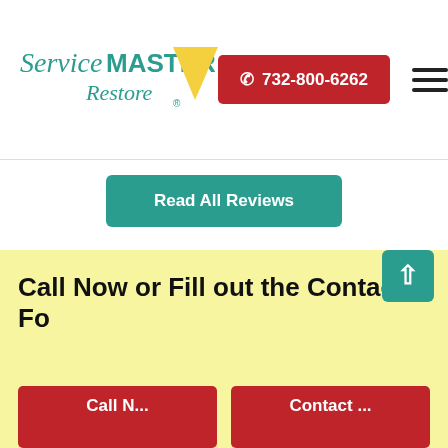[Figure (logo): ServiceMaster Restore logo with teal text and yellow triangle graphic]
732-800-6262
Read All Reviews
Memberships & Associations
[Figure (infographic): Three placeholder membership/association logo icons in grey]
Call Now or Fill out the Contact Fo
Call N
Contact ...